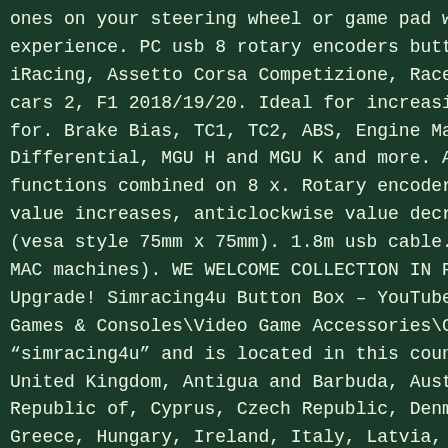ones on your steering wheel or game pad whilst crea experience. PC usb 8 rotary encoders button box 16 iRacing, Assetto Corsa Competizione, Raceroom, Asse cars 2, F1 2018/19/20. Ideal for increasing or decr for. Brake Bias, TC1, TC2, ABS, Engine Mapping, Das Differential, MGU H and MGU K and more. ABS Box dim functions combined on 8 x. Rotary encoders with gre value increases, anticlockwise value decreases). 4x (vesa style 75mm x 75mm). 1.8m usb cable. (Not to b MAC machines). WE WELCOME COLLECTION IN PERSON. An Upgrade! Simracing4u Button Box – YouTube. This ite Games & Consoles\Video Game Accessories\Controllers "simracing4u" and is located in this country: GB. T United Kingdom, Antigua and Barbuda, Austria, Belgi Republic of, Cyprus, Czech Republic, Denmark, Eston Greece, Hungary, Ireland, Italy, Latvia, Lithuania, Netherlands, Poland, Portugal, Romania, Slovakia, S Australia, United States, Bahrain, Canada, Brazil, Israel, Hong Kong, Norway, Indonesia, Malaysia, Sin